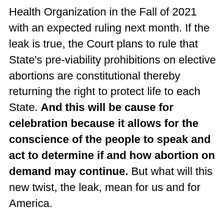Health Organization in the Fall of 2021 with an expected ruling next month. If the leak is true, the Court plans to rule that State's pre-viability prohibitions on elective abortions are constitutional thereby returning the right to protect life to each State. And this will be cause for celebration because it allows for the conscience of the people to speak and act to determine if and how abortion on demand may continue. But what will this new twist, the leak, mean for us and for America.
Tensions will be accelerated and exacerbated by the leak.
Protests and actions by both sides will be expected.
Women will be confused, angry, and even panicked about their options.